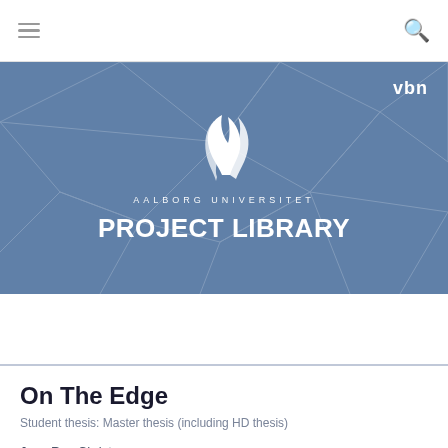[Figure (screenshot): Navigation bar with hamburger menu icon on the left and search icon on the right]
[Figure (logo): Aalborg Universitet Project Library header banner with AAU flame logo, VBN logo, geometric polygon background pattern, university name and PROJECT LIBRARY title in white on blue background]
On The Edge
Student thesis: Master thesis (including HD thesis)
Jens Rex Christensen